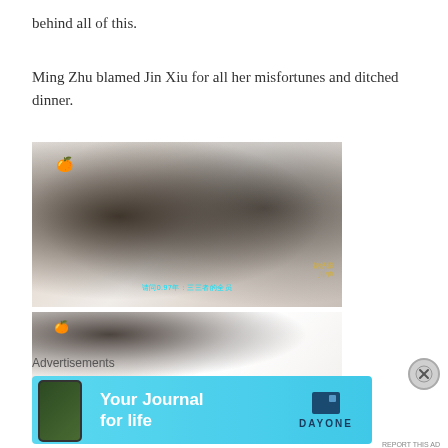behind all of this.
Ming Zhu blamed Jin Xiu for all her misfortunes and ditched dinner.
[Figure (screenshot): TV drama screenshot showing a young man in a suit and tie facing a young woman with dark hair in a ponytail, with decorative ironwork in the background and Chinese subtitles at the bottom.]
[Figure (screenshot): TV drama screenshot showing a close-up of a young man's face from the side, with a light/white background.]
Advertisements
[Figure (screenshot): Advertisement banner for Day One journal app with cyan/blue background showing 'Your Journal for life' text and Day One logo.]